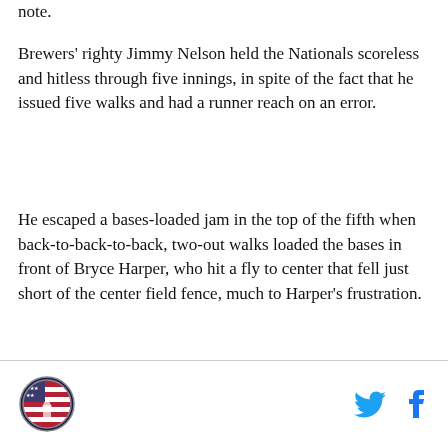note.
Brewers' righty Jimmy Nelson held the Nationals scoreless and hitless through five innings, in spite of the fact that he issued five walks and had a runner reach on an error.
He escaped a bases-loaded jam in the top of the fifth when back-to-back-to-back, two-out walks loaded the bases in front of Bryce Harper, who hit a fly to center that fell just short of the center field fence, much to Harper's frustration.
Nelson was done after throwing 91 pitches in five hitless innings in Miller Park.
[Figure (logo): Circular logo with American flag and landmark design, bottom footer left]
[Figure (other): Twitter and Facebook social media icons in footer right]